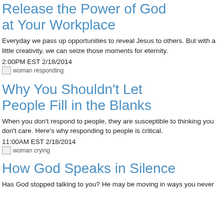Release the Power of God at Your Workplace
Everyday we pass up opportunities to reveal Jesus to others. But with a little creativity, we can seize those moments for eternity.
2:00PM EST 2/18/2014
[Figure (photo): woman responding (broken image)]
Why You Shouldn't Let People Fill in the Blanks
When you don't respond to people, they are susceptible to thinking you don't care. Here's why responding to people is critical.
11:00AM EST 2/18/2014
[Figure (photo): woman crying (broken image)]
How God Speaks in Silence
Has God stopped talking to you? He may be moving in ways you never